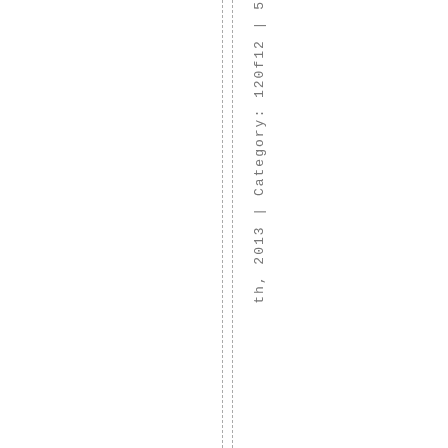th, 2013 | Category: 120f12 | 5